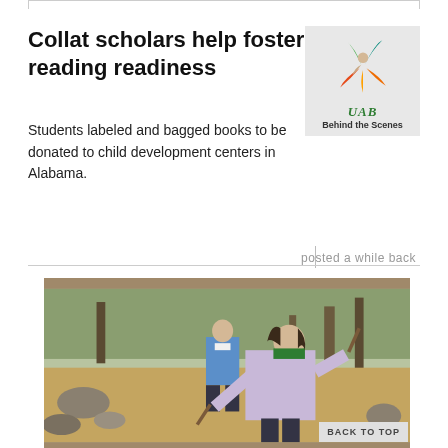Collat scholars help foster reading readiness
Students labeled and bagged books to be donated to child development centers in Alabama.
[Figure (logo): UAB Behind the Scenes logo — colorful star/person shape in green, teal, red/orange and yellow on grey background, with UAB text and 'Behind the Scenes' below]
posted a while back
[Figure (photo): Outdoor photo of two students wearing face masks working in a park-like setting with trees, rocks, and dry leaves on the ground. One student in foreground wearing a light pink/lavender top and dark green face mask, holding sticks. Another student in background wearing a blue shirt and white mask.]